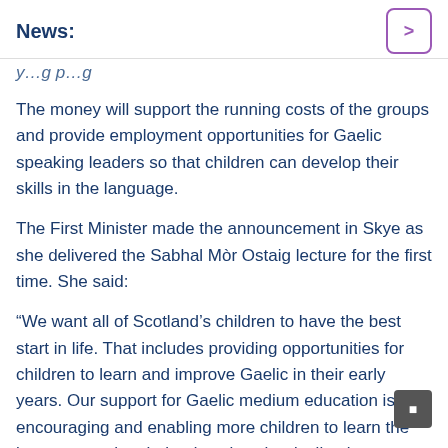News:
y…g p…g
The money will support the running costs of the groups and provide employment opportunities for Gaelic speaking leaders so that children can develop their skills in the language.
The First Minister made the announcement in Skye as she delivered the Sabhal Mòr Ostaig lecture for the first time. She said:
“We want all of Scotland’s children to have the best start in life. That includes providing opportunities for children to learn and improve Gaelic in their early years. Our support for Gaelic medium education is encouraging and enabling more children to learn the language an… has helped to slow the decline in our population of